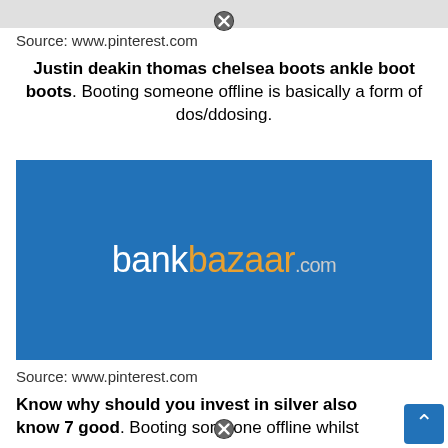[Figure (screenshot): Top gray bar with close (X) button overlay]
Source: www.pinterest.com
Justin deakin thomas chelsea boots ankle boot boots. Booting someone offline is basically a form of dos/ddosing.
[Figure (logo): BankBazaar.com advertisement banner on blue background]
Source: www.pinterest.com
Know why should you invest in silver also know 7 good. Booting someone offline whilst